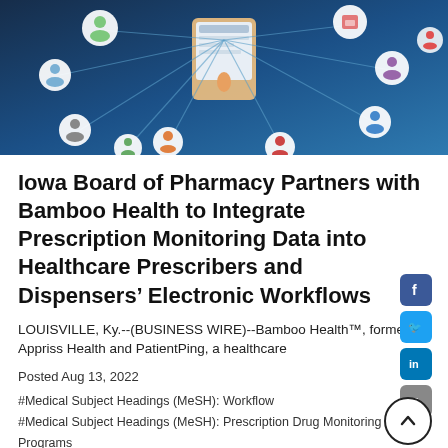[Figure (illustration): Hero banner illustration showing a hand holding a tablet device connected to multiple circular icons representing people/users via lines, on a dark blue background — depicting a digital health network.]
Iowa Board of Pharmacy Partners with Bamboo Health to Integrate Prescription Monitoring Data into Healthcare Prescribers and Dispensers’ Electronic Workflows
LOUISVILLE, Ky.--(BUSINESS WIRE)--Bamboo Health™, formerly Appriss Health and PatientPing, a healthcare
Posted Aug 13, 2022
#Medical Subject Headings (MeSH): Workflow
#Medical Subject Headings (MeSH): Prescription Drug Monitoring Programs